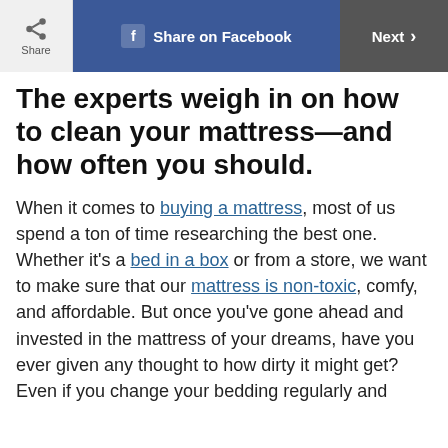Share | Share on Facebook | Next
The experts weigh in on how to clean your mattress—and how often you should.
When it comes to buying a mattress, most of us spend a ton of time researching the best one. Whether it's a bed in a box or from a store, we want to make sure that our mattress is non-toxic, comfy, and affordable. But once you've gone ahead and invested in the mattress of your dreams, have you ever given any thought to how dirty it might get? Even if you change your bedding regularly and